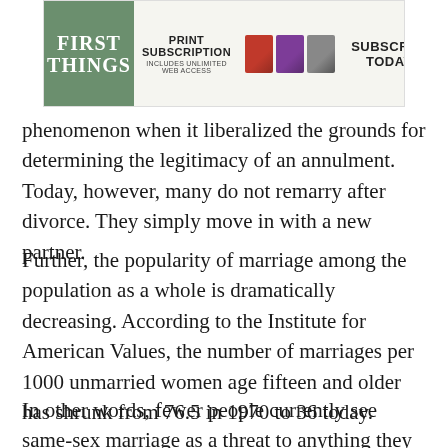[Figure (other): First Things magazine advertisement banner with green logo, print subscription offer with magazine images, and 'Subscribe Today!' call to action.]
phenomenon when it liberalized the grounds for determining the legitimacy of an annulment. Today, however, many do not remarry after divorce. They simply move in with a new partner.
Further, the popularity of marriage among the population as a whole is dramatically decreasing. According to the Institute for American Values, the number of marriages per 1000 unmarried women age fifteen and older has shrunk from 76.5 in 1970 to 36 today.
In other words, fewer people currently see same-sex marriage as a threat to anything they are building their